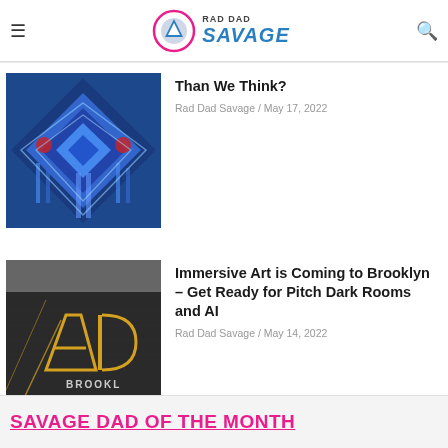RAD DAD SAVAGE
Than We Think?
Rad Dad Savage / May 17, 2022
[Figure (photo): Colorful abstract digital art with blue and red geometric patterns, resembling a symmetrical futuristic figure]
Immersive Art is Coming to Brooklyn – Get Ready for Pitch Dark Rooms and AI
Rad Dad Savage / May 14, 2022
[Figure (photo): Dark building facade with neon letter A and D signs with the word BROOKL visible, illuminated with gold lines]
LOAD MORE
SAVAGE DAD OF THE MONTH